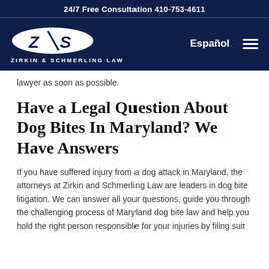24/7 Free Consultation 410-753-4611
[Figure (logo): Zirkin & Schmerling Law logo — white oval with ZS monogram and firm name below in white caps on dark navy background]
lawyer as soon as possible.
Have a Legal Question About Dog Bites In Maryland? We Have Answers
If you have suffered injury from a dog attack in Maryland, the attorneys at Zirkin and Schmerling Law are leaders in dog bite litigation. We can answer all your questions, guide you through the challenging process of Maryland dog bite law and help you hold the right person responsible for your injuries by filing suit